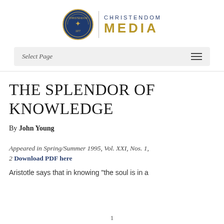[Figure (logo): Christendom College seal and CHRISTENDOM MEDIA wordmark with gold and navy blue branding]
Select Page
THE SPLENDOR OF KNOWLEDGE
By John Young
Appeared in Spring/Summer 1995, Vol. XXI, Nos. 1, 2 Download PDF here
Aristotle says that in knowing “the soul is in a
1